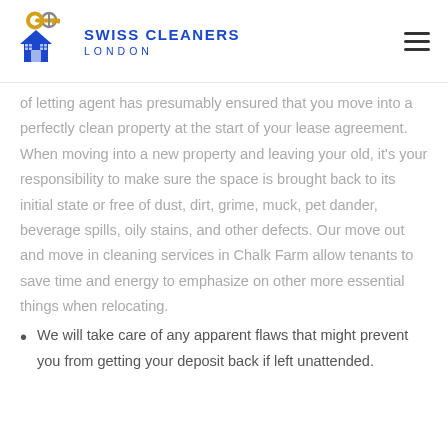SWISS CLEANERS LONDON
of letting agent has presumably ensured that you move into a perfectly clean property at the start of your lease agreement. When moving into a new property and leaving your old, it's your responsibility to make sure the space is brought back to its initial state or free of dust, dirt, grime, muck, pet dander, beverage spills, oily stains, and other defects. Our move out and move in cleaning services in Chalk Farm allow tenants to save time and energy to emphasize on other more essential things when relocating.
We will take care of any apparent flaws that might prevent you from getting your deposit back if left unattended.